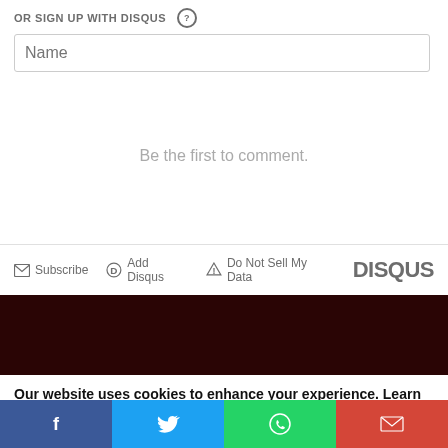OR SIGN UP WITH DISQUS ?
Name
Be the first to comment.
Subscribe  Add Disqus  Do Not Sell My Data  DISQUS
[Figure (photo): Dark reddish-black textured background strip]
Our website uses cookies to enhance your experience. Learn More
Accept !
[Figure (infographic): Social share bar with Facebook, Twitter, WhatsApp, and Gmail buttons]